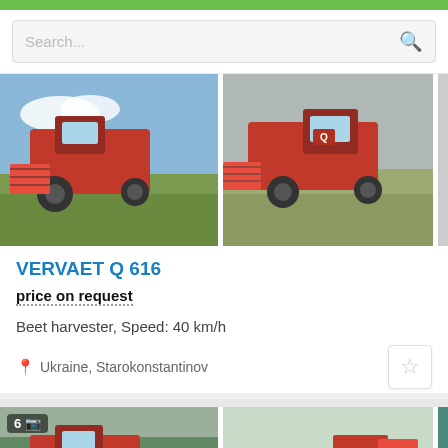Search...
[Figure (photo): Red beet harvester working in a field, left image]
[Figure (photo): Red Vervaet Q beet harvester in a field, middle image]
VERVAET Q 616
price on request
Beet harvester, Speed: 40 km/h
Ukraine, Starokonstantinov
[Figure (photo): Red beet harvester in a field, bottom left]
[Figure (photo): Red harvesting machinery in a green field, bottom middle]